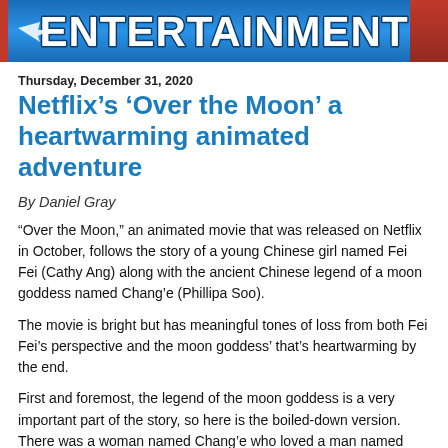ENTERTAINMENT
Thursday, December 31, 2020
Netflix’s ‘Over the Moon’ a heartwarming animated adventure
By Daniel Gray
“Over the Moon,” an animated movie that was released on Netflix in October, follows the story of a young Chinese girl named Fei Fei (Cathy Ang) along with the ancient Chinese legend of a moon goddess named Chang’e (Phillipa Soo).
The movie is bright but has meaningful tones of loss from both Fei Fei’s perspective and the moon goddess’ that’s heartwarming by the end.
First and foremost, the legend of the moon goddess is a very important part of the story, so here is the boiled-down version. There was a woman named Chang’e who loved a man named Houyi, however, one day Chang’e took a pill that